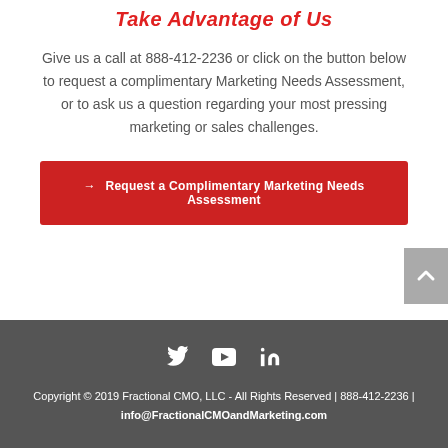Take Advantage of Us
Give us a call at 888-412-2236 or click on the button below to request a complimentary Marketing Needs Assessment, or to ask us a question regarding your most pressing marketing or sales challenges.
→ Request a Complimentary Marketing Needs Assessment
Copyright © 2019 Fractional CMO, LLC - All Rights Reserved | 888-412-2236 | info@FractionalCMOandMarketing.com